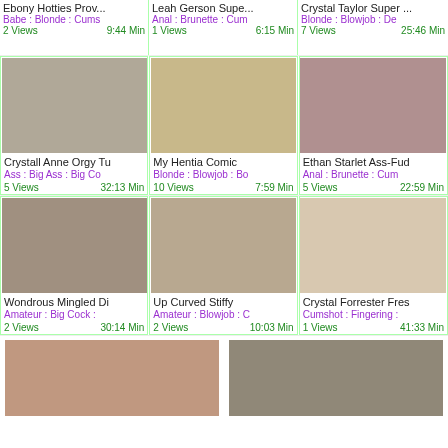[Figure (screenshot): Adult video thumbnail grid page showing 3 rows of video cards each with thumbnail image, title, tags, view count and duration, plus partial bottom row]
Crystall Anne Orgy Tu | Babe : Blonde : Cums | 2 Views 9:44 Min
My Hentia Comic | Anal : Brunette : Cum | 1 Views 6:15 Min
Ethan Starlet Ass-Fuc | Blonde : Blowjob : De | 7 Views 25:46 Min
Crystall Anne Orgy Tu | Ass : Big Ass : Big Co | 5 Views 32:13 Min
My Hentia Comic | Blonde : Blowjob : Bo | 10 Views 7:59 Min
Ethan Starlet Ass-Fud | Anal : Brunette : Cum | 5 Views 22:59 Min
Wondrous Mingled Di | Amateur : Big Cock : | 2 Views 30:14 Min
Up Curved Stiffy | Amateur : Blowjob : C | 2 Views 10:03 Min
Crystal Forrester Fres | Cumshot : Fingering : | 1 Views 41:33 Min